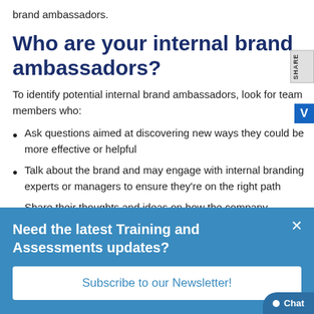brand ambassadors.
Who are your internal brand ambassadors?
To identify potential internal brand ambassadors, look for team members who:
Ask questions aimed at discovering new ways they could be more effective or helpful
Talk about the brand and may engage with internal branding experts or managers to ensure they're on the right path
Share their thoughts and ideas on how the company
[Figure (screenshot): Blue popup modal with white close X button, title 'Need the latest Training and Assessments updates?', and a white Subscribe to our Newsletter button. A Chat button is in the bottom right corner.]